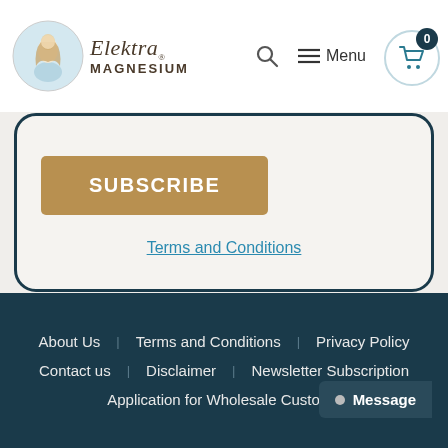[Figure (logo): Elektra Magnesium logo with mermaid illustration and brand name]
[Figure (screenshot): Subscribe button and Terms and Conditions link inside a rounded dark-bordered card]
SUBSCRIBE
Terms and Conditions
About Us   Terms and Conditions   Privacy Policy   Contact us   Disclaimer   Newsletter Subscription   Application for Wholesale Custome…   Message